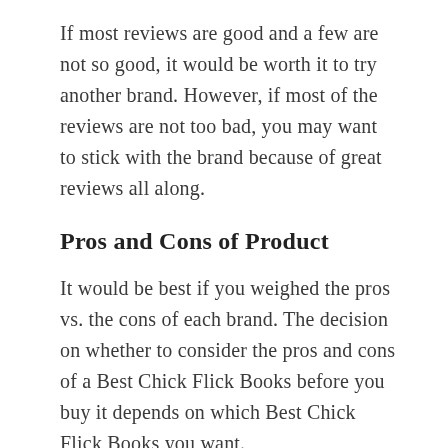If most reviews are good and a few are not so good, it would be worth it to try another brand. However, if most of the reviews are not too bad, you may want to stick with the brand because of great reviews all along.
Pros and Cons of Product
It would be best if you weighed the pros vs. the cons of each brand. The decision on whether to consider the pros and cons of a Best Chick Flick Books before you buy it depends on which Best Chick Flick Books you want.